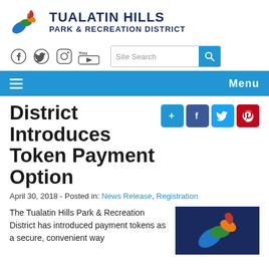[Figure (logo): Tualatin Hills Park & Recreation District logo with colorful leaf/flame icon and text]
[Figure (infographic): Social media icons (Facebook, Twitter, Instagram, YouTube) and site search bar]
[Figure (infographic): Blue navigation bar with hamburger menu icon and Menu label]
District Introduces Token Payment Option
April 30, 2018 - Posted in: News Release, Registration
The Tualatin Hills Park & Recreation District has introduced payment tokens as a secure, convenient way
[Figure (logo): Tualatin Hills Park & Recreation District logo on dark blue background]